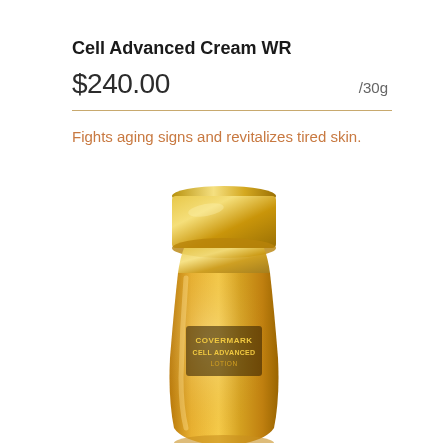Cell Advanced Cream WR
$240.00   /30g
Fights aging signs and revitalizes tired skin.
[Figure (photo): Gold luxury skincare bottle with gold cap, labeled COVERMARK CELL ADVANCED LOTION]